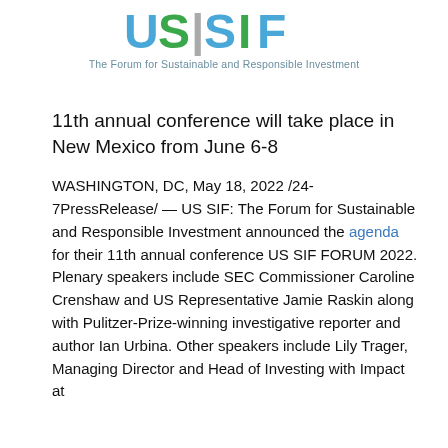[Figure (logo): US SIF logo with green and blue circular letters and tagline 'The Forum for Sustainable and Responsible Investment']
11th annual conference will take place in New Mexico from June 6-8
WASHINGTON, DC, May 18, 2022 /24-7PressRelease/ — US SIF: The Forum for Sustainable and Responsible Investment announced the agenda for their 11th annual conference US SIF FORUM 2022. Plenary speakers include SEC Commissioner Caroline Crenshaw and US Representative Jamie Raskin along with Pulitzer-Prize-winning investigative reporter and author Ian Urbina. Other speakers include Lily Trager, Managing Director and Head of Investing with Impact at